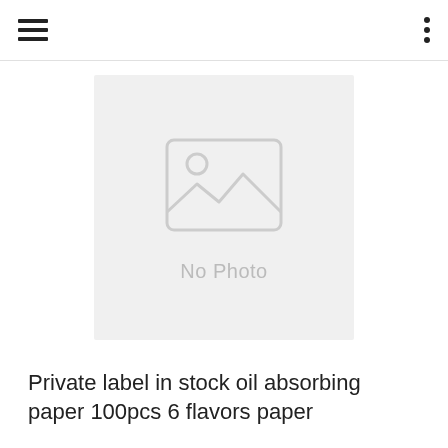[Figure (photo): No Photo placeholder image with a mountain/landscape and person icon, gray background]
Private label in stock oil absorbing paper 100pcs 6 flavors paper